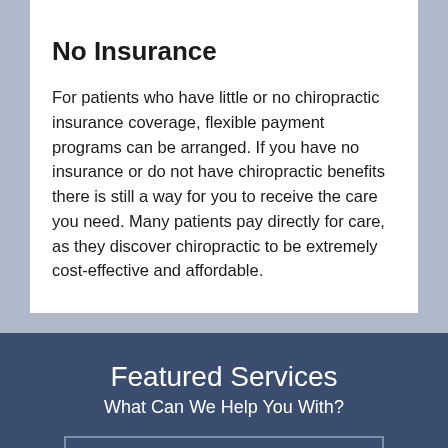No Insurance
For patients who have little or no chiropractic insurance coverage, flexible payment programs can be arranged. If you have no insurance or do not have chiropractic benefits there is still a way for you to receive the care you need. Many patients pay directly for care, as they discover chiropractic to be extremely cost-effective and affordable.
Featured Services
What Can We Help You With?
Services